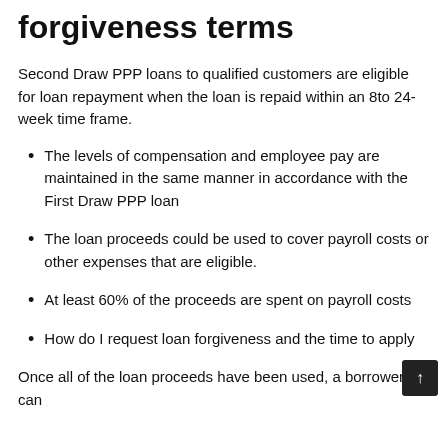forgiveness terms
Second Draw PPP loans to qualified customers are eligible for loan repayment when the loan is repaid within an 8to 24-week time frame.
The levels of compensation and employee pay are maintained in the same manner in accordance with the First Draw PPP loan
The loan proceeds could be used to cover payroll costs or other expenses that are eligible.
At least 60% of the proceeds are spent on payroll costs
How do I request loan forgiveness and the time to apply
Once all of the loan proceeds have been used, a borrower can